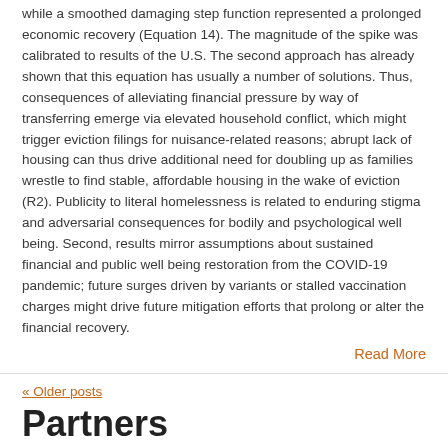while a smoothed damaging step function represented a prolonged economic recovery (Equation 14). The magnitude of the spike was calibrated to results of the U.S. The second approach has already shown that this equation has usually a number of solutions. Thus, consequences of alleviating financial pressure by way of transferring emerge via elevated household conflict, which might trigger eviction filings for nuisance-related reasons; abrupt lack of housing can thus drive additional need for doubling up as families wrestle to find stable, affordable housing in the wake of eviction (R2). Publicity to literal homelessness is related to enduring stigma and adversarial consequences for bodily and psychological well being. Second, results mirror assumptions about sustained financial and public well being restoration from the COVID-19 pandemic; future surges driven by variants or stalled vaccination charges might drive future mitigation efforts that prolong or alter the financial recovery.
Read More
« Older posts
Partners
Sell Backlinks Online